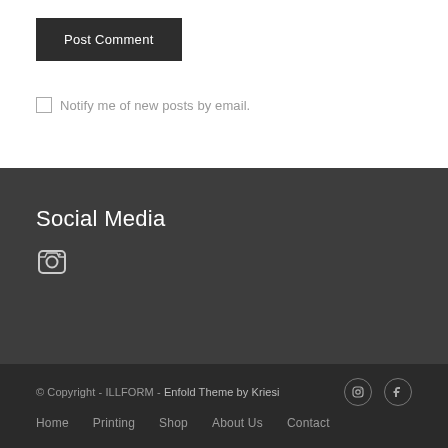Post Comment
Notify me of new posts by email.
Social Media
[Figure (illustration): Instagram icon (camera symbol) in white on dark background]
© Copyright - ILLFORM - Enfold Theme by Kriesi | Home | Printing | Shop | About Us | Contact